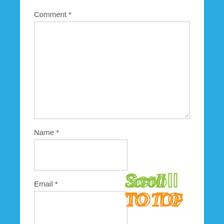Comment *
[Figure (screenshot): Large textarea input box for comment field]
Name *
[Figure (screenshot): Text input box for name field]
Email *
[Figure (screenshot): Text input box for email field]
[Figure (logo): Scroll to Top logo with colorful cursive text]
Website